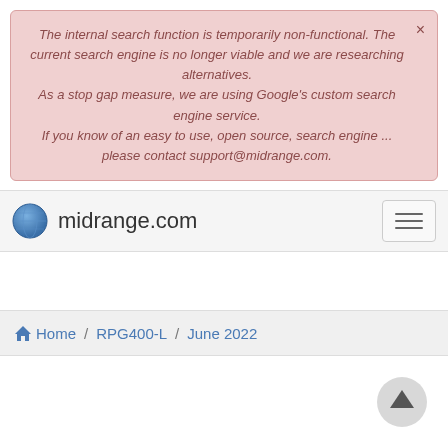The internal search function is temporarily non-functional. The current search engine is no longer viable and we are researching alternatives.
As a stop gap measure, we are using Google's custom search engine service.
If you know of an easy to use, open source, search engine ... please contact support@midrange.com.
midrange.com
Home / RPG400-L / June 2022